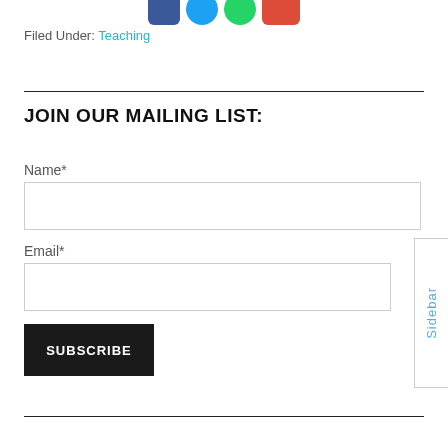[Figure (illustration): Social media sharing icons (Facebook, Twitter, WhatsApp, Google+) partially visible at top of page]
Filed Under: Teaching
JOIN OUR MAILING LIST:
Name*
Email*
SUBSCRIBE